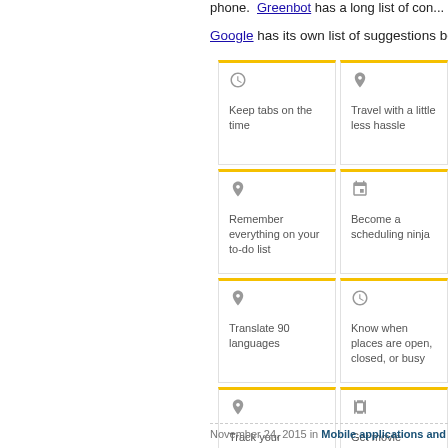phone. Greenbot has a long list of con...
Google has its own list of suggestions be...
[Figure (screenshot): A 2x4 grid of Google Now cards: Keep tabs on the time, Travel with a little less hassle, Remember everything on your to-do list, Become a scheduling ninja, Translate 90 languages, Know when places are open closed or busy, Track your packages, Get movie showtimes trailers and reviews]
November 24, 2015 in Mobile applications and co...